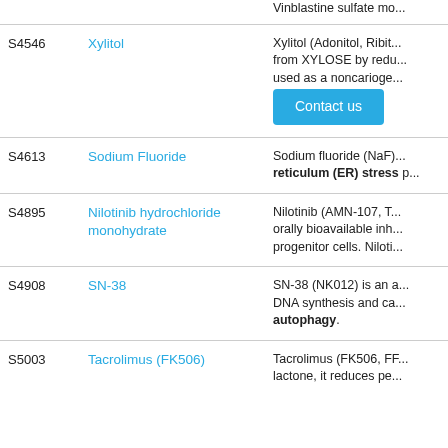| ID | Name | Description |
| --- | --- | --- |
|  |  | Vinblastine sulfate mo... |
| S4546 | Xylitol | Xylitol (Adonitol, Ribit... from XYLOSE by redu... used as a noncarioge... |
| S4613 | Sodium Fluoride | Sodium fluoride (NaF)... reticulum (ER) stress p... |
| S4895 | Nilotinib hydrochloride monohydrate | Nilotinib (AMN-107, T... orally bioavailable inh... progenitor cells. Niloti... |
| S4908 | SN-38 | SN-38 (NK012) is an a... DNA synthesis and ca... autophagy. |
| S5003 | Tacrolimus (FK506) | Tacrolimus (FK506, FF... lactone, it reduces pe... |